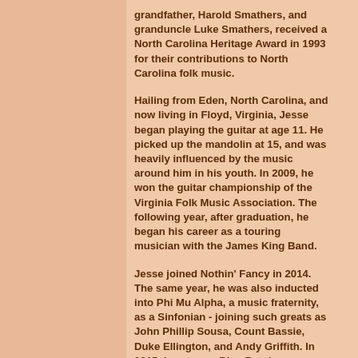grandfather, Harold Smathers, and granduncle Luke Smathers, received a North Carolina Heritage Award in 1993 for their contributions to North Carolina folk music.
Hailing from Eden, North Carolina, and now living in Floyd, Virginia, Jesse began playing the guitar at age 11. He picked up the mandolin at 15, and was heavily influenced by the music around him in his youth. In 2009, he won the guitar championship of the Virginia Folk Music Association. The following year, after graduation, he began his career as a touring musician with the James King Band.
Jesse joined Nothin' Fancy in 2014. The same year, he was also inducted into Phi Mu Alpha, a music fraternity, as a Sinfonian - joining such greats as John Phillip Sousa, Count Bassie, Duke Ellington, and Andy Griffith. In 2015, Lonesome Blue Band...